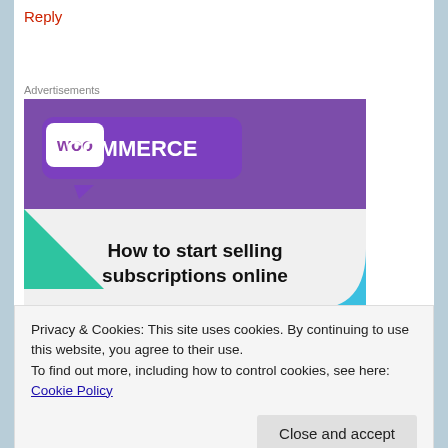Reply
Advertisements
[Figure (illustration): WooCommerce advertisement banner showing WooCommerce logo on purple background with teal and blue geometric shapes, text reading 'How to start selling subscriptions online']
Privacy & Cookies: This site uses cookies. By continuing to use this website, you agree to their use.
To find out more, including how to control cookies, see here: Cookie Policy
Close and accept
I agree with the suggested changes the others have